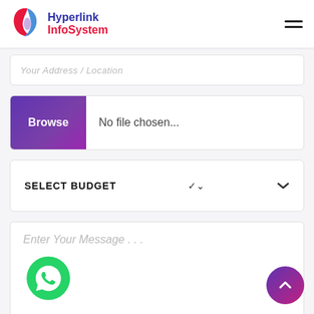[Figure (logo): Hyperlink InfoSystem logo with stylized S icon in pink/blue gradient and text 'Hyperlink InfoSystem' in blue and red]
[Figure (screenshot): Hamburger menu icon (three horizontal lines) in top right corner]
Your Address / Location
Browse   No file chosen...
SELECT BUDGET
Enter Your Message . . .
[Figure (illustration): Green circular WhatsApp icon button]
[Figure (illustration): Purple/pink gradient circular back-to-top button with upward chevron arrow]